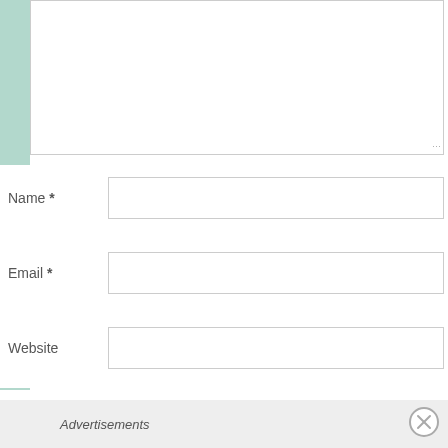[Figure (screenshot): Textarea input box for comment, partially visible at top]
Name *
Email *
Website
POST COMMENT
Advertisements